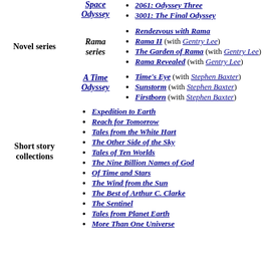Space Odyssey (series link, partial at top)
2061: Odyssey Three
3001: The Final Odyssey
Novel series | Rama series
Rendezvous with Rama
Rama II (with Gentry Lee)
The Garden of Rama (with Gentry Lee)
Rama Revealed (with Gentry Lee)
A Time Odyssey
Time's Eye (with Stephen Baxter)
Sunstorm (with Stephen Baxter)
Firstborn (with Stephen Baxter)
Short story collections
Expedition to Earth
Reach for Tomorrow
Tales from the White Hart
The Other Side of the Sky
Tales of Ten Worlds
The Nine Billion Names of God
Of Time and Stars
The Wind from the Sun
The Best of Arthur C. Clarke
The Sentinel
Tales from Planet Earth
More Than One Universe